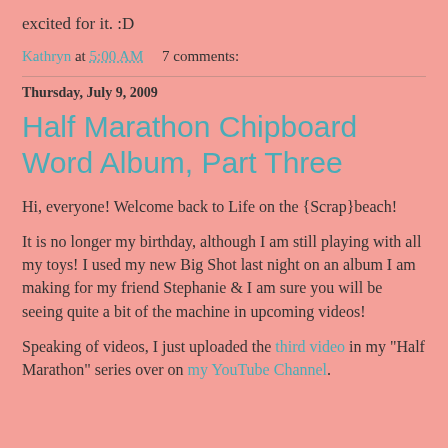excited for it. :D
Kathryn at 5:00 AM    7 comments:
Thursday, July 9, 2009
Half Marathon Chipboard Word Album, Part Three
Hi, everyone! Welcome back to Life on the {Scrap}beach!
It is no longer my birthday, although I am still playing with all my toys! I used my new Big Shot last night on an album I am making for my friend Stephanie & I am sure you will be seeing quite a bit of the machine in upcoming videos!
Speaking of videos, I just uploaded the third video in my "Half Marathon" series over on my YouTube Channel.